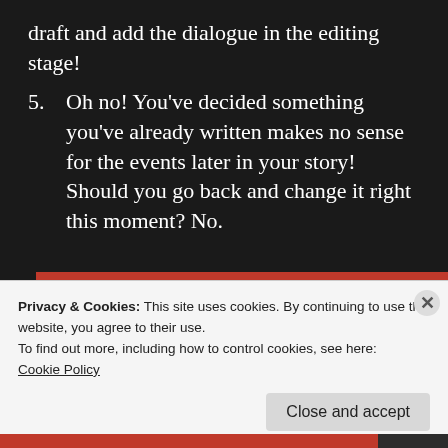draft and add the dialogue in the editing stage!
5. Oh no! You've decided something you've already written makes no sense for the events later in your story! Should you go back and change it right this moment? No.
[Figure (screenshot): DuckDuckGo advertisement banner: orange section with text 'Search, browse, and email with more privacy. All in One Free App' and dark section with DuckDuckGo logo and name]
Privacy & Cookies: This site uses cookies. By continuing to use this website, you agree to their use.
To find out more, including how to control cookies, see here:
Cookie Policy
Close and accept